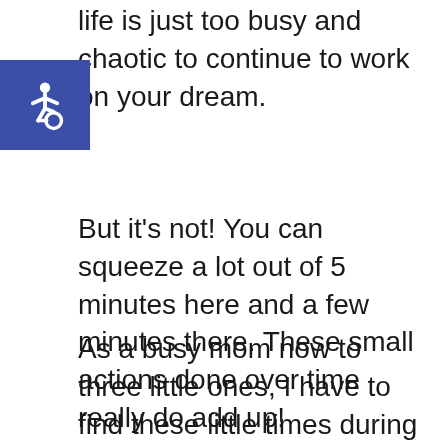life is just too busy and chaotic to continue to work on your dream.
[Figure (logo): Blue square with white wheelchair accessibility icon]
But it's not! You can squeeze a lot out of 5 minutes here and a few minutes there. These small actions done over time really do add up!
As a busy mom now to three little ones, I have to find these little times during the day to continue to grow my blog. It's not always easy, but being able to stay at home with my children makes all the hard work worth it!